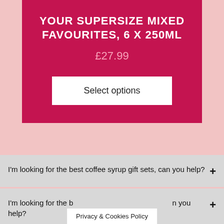YOUR SUPERSIZE MIXED FAVOURITES, 6 X 250ML
£27.99
Select options
I'm looking for the best coffee syrup gift sets, can you help?
I'm looking for the b...n you help?
Privacy & Cookies Policy